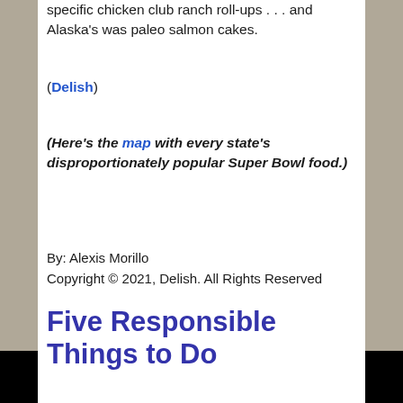specific chicken club ranch roll-ups . . . and Alaska's was paleo salmon cakes.
(Delish)
(Here's the map with every state's disproportionately popular Super Bowl food.)
By: Alexis Morillo
Copyright © 2021, Delish. All Rights Reserved
Five Responsible Things to Do